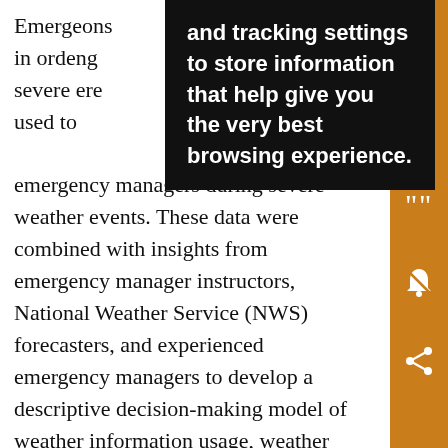Emergency managers during severe weather events. These data were combined with insights from emergency manager instructors, National Weather Service (NWS) forecasters, and experienced emergency managers to develop a descriptive decision-making model of weather information usage, weather assessments, and decisions made during severe weather. This decision-making model can be used to develop better decision support tools, improve training, and to understand how innovative weather information could potentially affect emergency managers' role of protecting the public.
[Figure (other): Black tooltip/popup overlay with white bold text reading: 'and tracking settings to store information that help give you the very best browsing experience.']
[Figure (other): Orange sidebar with icons for save, email, quote, notification/mute, and share.]